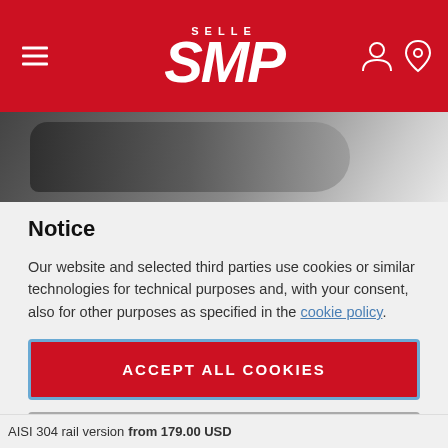[Figure (logo): Selle SMP logo in white on red header bar with hamburger menu icon on left and user/location icons on right]
[Figure (photo): Partial view of a dark bicycle saddle on a light background]
Notice
Our website and selected third parties use cookies or similar technologies for technical purposes and, with your consent, also for other purposes as specified in the cookie policy.
ACCEPT ALL COOKIES
PRIVACY PREFERENCES
AISI 304 rail version from 179.00 USD